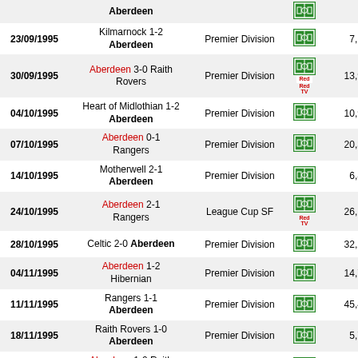| Date | Match | Competition | Icon | Att/App |
| --- | --- | --- | --- | --- |
|  | Aberdeen |  |  |  |
| 23/09/1995 | Kilmarnock 1-2 Aberdeen | Premier Division |  | 7,198 23 |
| 30/09/1995 | Aberdeen 3-0 Raith Rovers | Premier Division | RedTV | 13,983 23 |
| 04/10/1995 | Heart of Midlothian 1-2 Aberdeen | Premier Division |  | 10,927 23 |
| 07/10/1995 | Aberdeen 0-1 Rangers | Premier Division |  | 20,351 23 |
| 14/10/1995 | Motherwell 2-1 Aberdeen | Premier Division |  | 6,842 23 |
| 24/10/1995 | Aberdeen 2-1 Rangers | League Cup SF | RedTV | 26,131 23 |
| 28/10/1995 | Celtic 2-0 Aberdeen | Premier Division |  | 32,275 23 |
| 04/11/1995 | Aberdeen 1-2 Hibernian | Premier Division |  | 14,774 23 |
| 11/11/1995 | Rangers 1-1 Aberdeen | Premier Division |  | 45,427 23 |
| 18/11/1995 | Raith Rovers 1-0 Aberdeen | Premier Division |  | 5,786 23 |
| 07/02/1996 | Aberdeen 1-0 Raith Rovers | Premier Division |  | 6,628 24 |
| 10/02/1996 | Heart of Midlothian 1-3 Aberdeen | Premier Division |  | 14,314 24 |
| 17/02/1996 | Stirling Albion 0-2 Aberdeen | Scottish Cup R4 |  | 3,808 24 |
| 25/02/1996 | Aberdeen 0-1 ... | Premier Division |  | 19,842 24 |